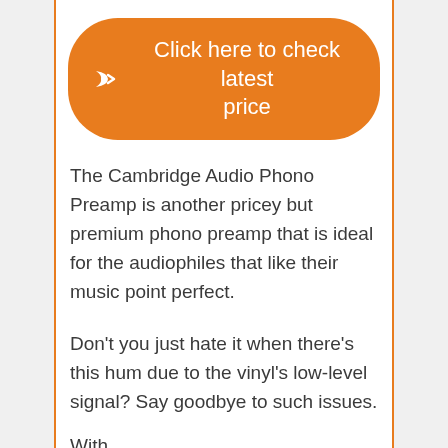[Figure (other): Orange rounded button with arrow icon and text 'Click here to check latest price']
The Cambridge Audio Phono Preamp is another pricey but premium phono preamp that is ideal for the audiophiles that like their music point perfect.
Don't you just hate it when there's this hum due to the vinyl's low-level signal? Say goodbye to such issues.
With...